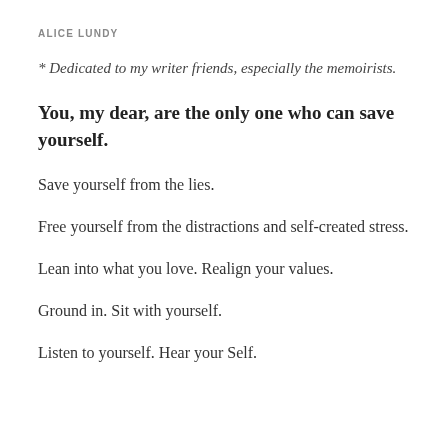ALICE LUNDY
* Dedicated to my writer friends, especially the memoirists.
You, my dear, are the only one who can save yourself.
Save yourself from the lies.
Free yourself from the distractions and self-created stress.
Lean into what you love. Realign your values.
Ground in. Sit with yourself.
Listen to yourself. Hear your Self.